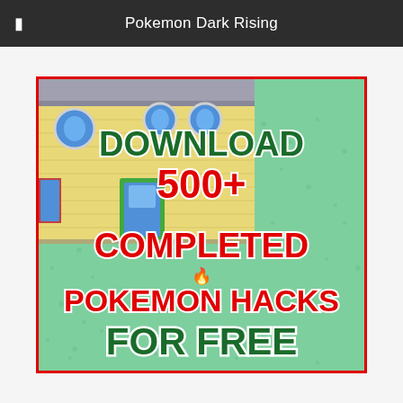Pokemon Dark Rising
[Figure (screenshot): A promotional image showing a Pokemon game scene background with a building on a green grass field. Overlaid bold text reads: DOWNLOAD 500+ COMPLETED POKEMON HACKS FOR FREE. Text is in green and red with white outline on the game scene background. Image has a red border.]